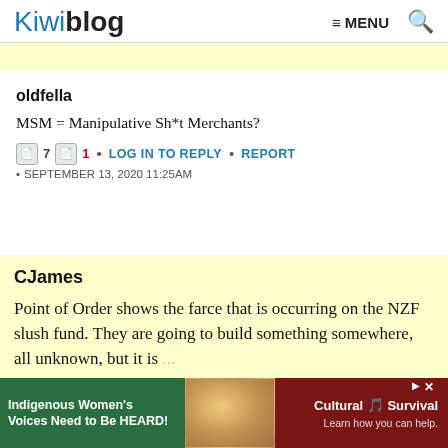Kiwiblog  ≡ MENU  🔍
oldfella
MSM = Manipulative Sh*t Merchants?
7  1  •  LOG IN TO REPLY  •  REPORT  •  SEPTEMBER 13, 2020 11:25AM
CJames
Point of Order shows the farce that is occurring on the NZF slush fund. They are going to build something somewhere, all unknown, but it is
https://p...marks-
[Figure (photo): Advertisement banner: Indigenous Women's Voices Need to Be HEARD! - Cultural Survival, Learn how you can help.]